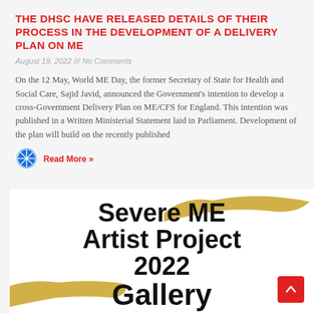THE DHSC HAVE RELEASED DETAILS OF THEIR PROCESS IN THE DEVELOPMENT OF A DELIVERY PLAN ON ME
August 19, 2022 /// No Comments
On the 12 May, World ME Day, the former Secretary of State for Health and Social Care, Sajid Javid, announced the Government's intention to develop a cross-Government Delivery Plan on ME/CFS for England. This intention was published in a Written Ministerial Statement laid in Parliament. Development of the plan will build on the recently published
Read More »
[Figure (photo): Promotional image for Severe ME Artist Project 2022 Gallery with gold brush strokes background. Bold black text reads 'Severe ME Artist Project 2022 Gallery'.]